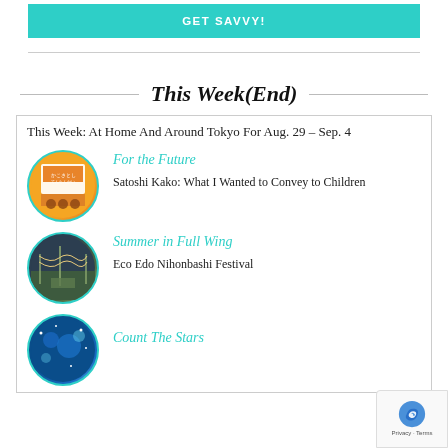GET SAVVY!
This Week(End)
This Week: At Home And Around Tokyo For Aug. 29 – Sep. 4
[Figure (illustration): Circular thumbnail for 'For the Future' – Japanese exhibition poster image]
For the Future
Satoshi Kako: What I Wanted to Convey to Children
[Figure (photo): Circular thumbnail for 'Summer in Full Wing' – outdoor festival scene with bridges and hanging decorations]
Summer in Full Wing
Eco Edo Nihonbashi Festival
[Figure (photo): Circular thumbnail for 'Count The Stars' – dark blue starry scene]
Count The Stars